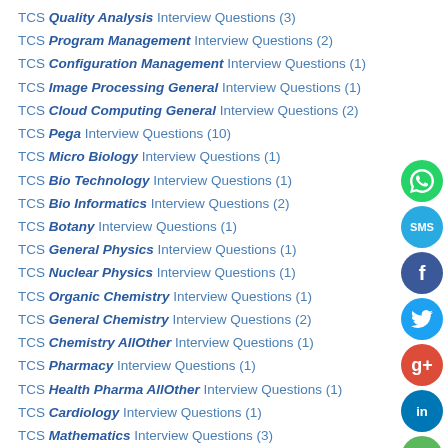TCS Quality Analysis Interview Questions (3)
TCS Program Management Interview Questions (2)
TCS Configuration Management Interview Questions (1)
TCS Image Processing General Interview Questions (1)
TCS Cloud Computing General Interview Questions (2)
TCS Pega Interview Questions (10)
TCS Micro Biology Interview Questions (1)
TCS Bio Technology Interview Questions (1)
TCS Bio Informatics Interview Questions (2)
TCS Botany Interview Questions (1)
TCS General Physics Interview Questions (1)
TCS Nuclear Physics Interview Questions (1)
TCS Organic Chemistry Interview Questions (1)
TCS General Chemistry Interview Questions (2)
TCS Chemistry AllOther Interview Questions (1)
TCS Pharmacy Interview Questions (1)
TCS Health Pharma AllOther Interview Questions (1)
TCS Cardiology Interview Questions (1)
TCS Mathematics Interview Questions (3)